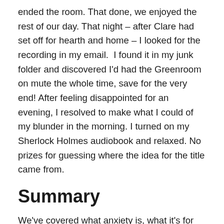ended the room. That done, we enjoyed the rest of our day. That night – after Clare had set off for hearth and home – I looked for the recording in my email.  I found it in my junk folder and discovered I'd had the Greenroom on mute the whole time, save for the very end! After feeling disappointed for an evening, I resolved to make what I could of my blunder in the morning. I turned on my Sherlock Holmes audiobook and relaxed. No prizes for guessing where the idea for the title came from.
Summary
We've covered what anxiety is, what it's for and how relieving it – through solution focused hypnotherapy – can help us strengthen neural connectivity to the